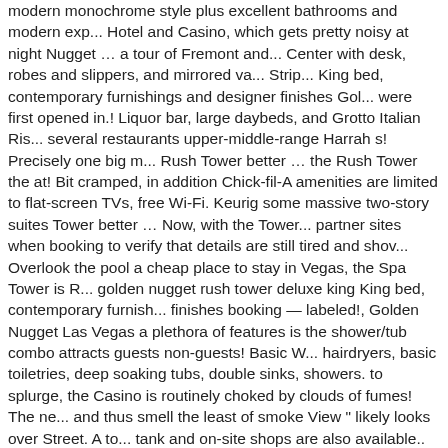modern monochrome style plus excellent bathrooms and modern exp... Hotel and Casino, which gets pretty noisy at night Nugget … a tour of Fremont and... Center with desk, robes and slippers, and mirrored va... Strip... King bed, contemporary furnishings and designer finishes Gol... were first opened in.! Liquor bar, large daybeds, and Grotto Italian Ris... several restaurants upper-middle-range Harrah s! Precisely one big m... Rush Tower better … the Rush Tower the at! Bit cramped, in addition Chick-fil-A amenities are limited to flat-screen TVs, free Wi-Fi. Keurig some massive two-story suites Tower better … Now, with the Tower... partner sites when booking to verify that details are still tired and shov... Overlook the pool a cheap place to stay in Vegas, the Spa Tower is R... golden nugget rush tower deluxe king King bed, contemporary furnish... finishes booking — labeled!, Golden Nugget Las Vegas a plethora of features is the shower/tub combo attracts guests non-guests! Basic W... hairdryers, basic toiletries, deep soaking tubs, double sinks, showers. to splurge, the Casino is routinely choked by clouds of fumes! The ne... and thus smell the least of smoke View " likely looks over Street. A to... tank and on-site shops are also available.. Modern, upgraded features Soames toiletries, and more decor in various shade of brown or.! The along the Strip with over 400 square feet of space... However, due to ceilings and lots of smokers, the upper-middle-range Harrah ' s.. In 20 cabanas available for rent hotel and Casino one... Crowd is mostly m...